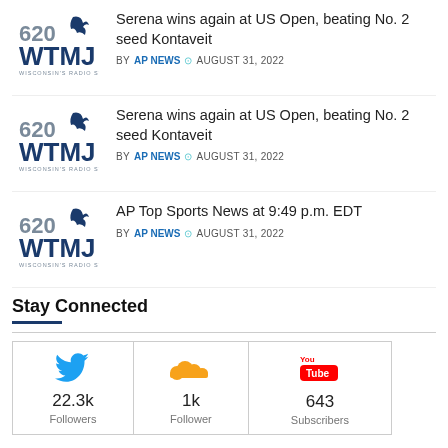Serena wins again at US Open, beating No. 2 seed Kontaveit | BY AP NEWS | AUGUST 31, 2022
Serena wins again at US Open, beating No. 2 seed Kontaveit | BY AP NEWS | AUGUST 31, 2022
AP Top Sports News at 9:49 p.m. EDT | BY AP NEWS | AUGUST 31, 2022
Stay Connected
| Twitter | SoundCloud | YouTube |
| --- | --- | --- |
| 22.3k Followers | 1k Follower | 643 Subscribers |